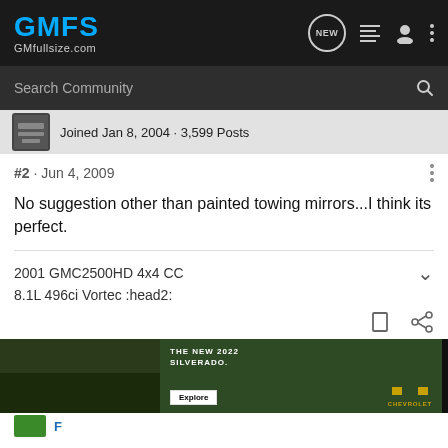GMFS GMfullsize.com
Search Community
Joined Jan 8, 2004 · 3,599 Posts
#2 · Jun 4, 2009
No suggestion other than painted towing mirrors...I think its perfect.
2001 GMC2500HD 4x4 CC
8.1L 496ci Vortec :head2:
[Figure (screenshot): Advertisement banner for The New 2022 Silverado by Chevrolet with an Explore button]